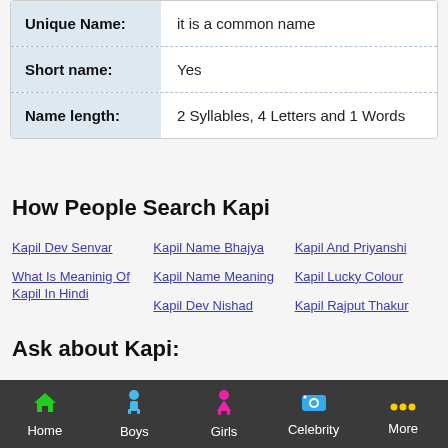| Unique Name: | it is a common name |
| Short name: | Yes |
| Name length: | 2 Syllables, 4 Letters and 1 Words |
How People Search Kapi
Kapil Dev Senvar
Kapil Name Bhajya
Kapil And Priyanshi
What Is Meaninig Of Kapil In Hindi
Kapil Name Meaning
Kapil Lucky Colour
Kapil Dev Nishad
Kapil Rajput Thakur
Ask about Kapi:
Home   Boys   Girls   Celebrity   More